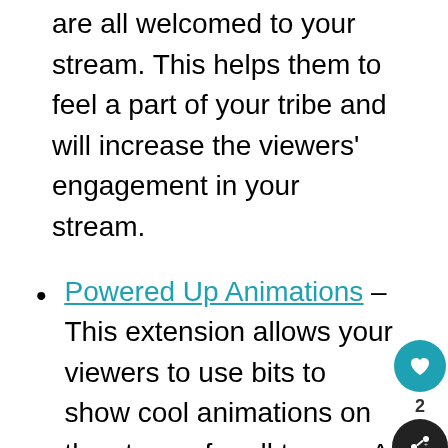are all welcomed to your stream. This helps them to feel a part of your tribe and will increase the viewers' engagement in your stream.
Powered Up Animations – This extension allows your viewers to use bits to show cool animations on the stream for all to see. A great way to increase your viewer engagement!
[Figure (screenshot): Powered Up Animations app card with icon, title, description and Install button]
[Figure (infographic): Orange ad banner: You can help hungry kids. No Kid Hungry logo. Learn How button.]